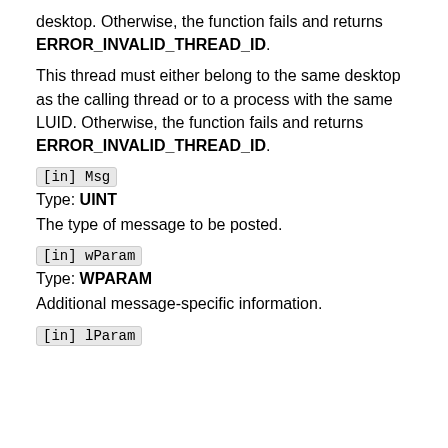desktop. Otherwise, the function fails and returns ERROR_INVALID_THREAD_ID.
This thread must either belong to the same desktop as the calling thread or to a process with the same LUID. Otherwise, the function fails and returns ERROR_INVALID_THREAD_ID.
[in] Msg
Type: UINT
The type of message to be posted.
[in] wParam
Type: WPARAM
Additional message-specific information.
[in] lParam